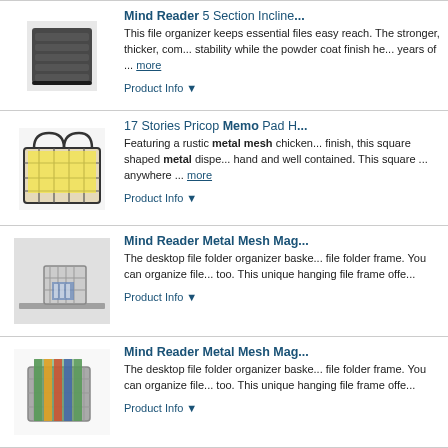[Figure (photo): Black metal file organizer with 5 incline sections]
Mind Reader 5 Section Incline...
This file organizer keeps essential files easy reach. The stronger, thicker, com... stability while the powder coat finish he... years of ... more
Product Info ▼
[Figure (photo): Rustic metal mesh chicken wire memo pad holder with yellow paper]
17 Stories Pricop Memo Pad H...
Featuring a rustic metal mesh chicken... finish, this square shaped metal dispe... hand and well contained. This square ... anywhere ... more
Product Info ▼
[Figure (photo): Metal mesh magazine/file organizer basket on desk shelf]
Mind Reader Metal Mesh Mag...
The desktop file folder organizer baske... file folder frame. You can organize file... too. This unique hanging file frame offe...
Product Info ▼
[Figure (photo): Metal mesh magazine/file organizer with colorful hanging files]
Mind Reader Metal Mesh Mag...
The desktop file folder organizer baske... file folder frame. You can organize file... too. This unique hanging file frame offe...
Product Info ▼
[Figure (photo): Mind Reader Metal Mesh product (partially visible)]
Mind Reader Metal Mesh Mag...